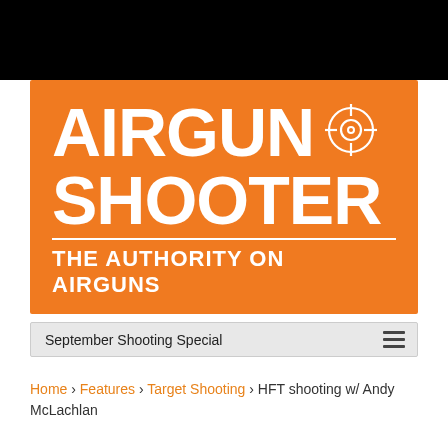[Figure (logo): Airgun Shooter magazine logo — orange rectangle background with bold white text reading AIRGUN SHOOTER with a crosshair icon and tagline THE AUTHORITY ON AIRGUNS]
September Shooting Special
Home › Features › Target Shooting › HFT shooting w/ Andy McLachlan